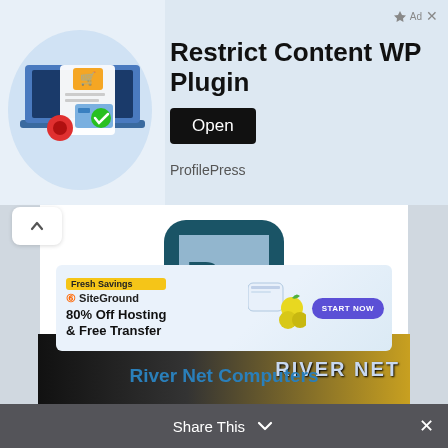[Figure (screenshot): Advertisement banner for 'Restrict Content WP Plugin' by ProfilePress with an Open button and an illustration of a shopping cart on a laptop]
[Figure (screenshot): SiteGround advertisement banner: 'Fresh Savings - 80% Off Hosting & Free Transfer' with a START NOW button]
[Figure (logo): River Net Computers logo - teal rounded square with stylized R and N letters]
River Net Computers
[Figure (photo): Partial view of a River Net branded card or sign with dark and gold colors]
Share This ×